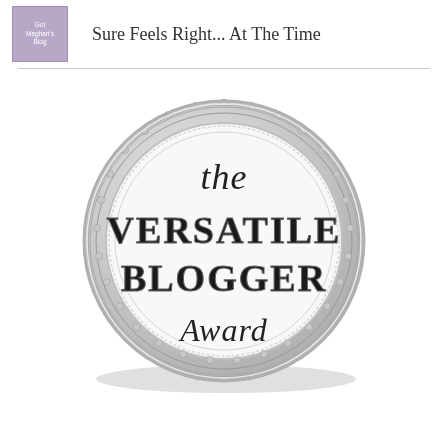Sure Feels Right... At The Time
[Figure (illustration): The Versatile Blogger Award medal — a circular silver medallion with decorative lace border, containing the text 'the VERSATILE BLOGGER Award' in script and bold serif fonts]